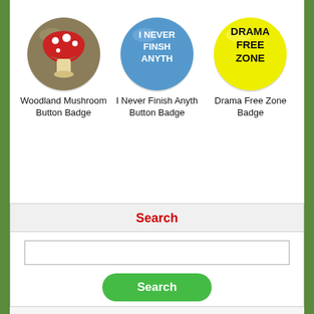[Figure (illustration): Three circular button badges side by side. Left: woodland mushroom badge (brown background, red mushroom with white spots). Center: blue badge reading 'I NEVER FINSH ANYTH'. Right: yellow badge reading 'DRAMA FREE ZONE'.]
Woodland Mushroom Button Badge
I Never Finish Anyth Button Badge
Drama Free Zone Badge
Search
Advanced Search